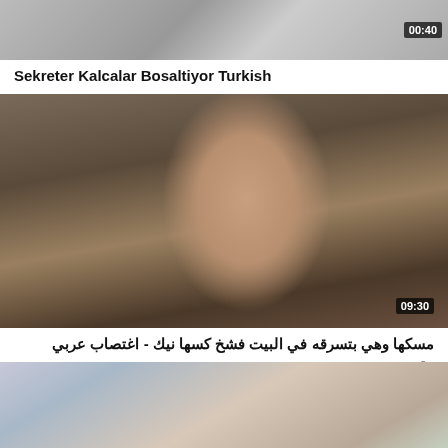[Figure (screenshot): Video thumbnail 1 - blurred/partial figure, duration 00:40]
Sekreter Kalcalar Bosaltiyor Turkish
[Figure (screenshot): Video thumbnail 2 - woman lying down close-up, duration 09:30]
مسكها وهي بتسرقه في البيت فشخ كسها نيك - اغتصاب عربي مترجم
[Figure (screenshot): Video thumbnail 3 - partial room scene]